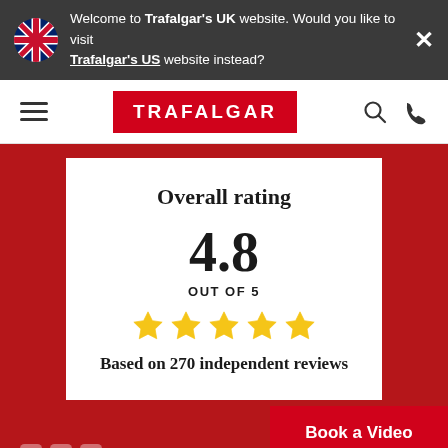Welcome to Trafalgar's UK website. Would you like to visit Trafalgar's US website instead?
[Figure (logo): Trafalgar logo in red rectangle with white text]
Overall rating
4.8
OUT OF 5
[Figure (illustration): 5 gold stars rating display]
Based on 270 independent reviews
Book a Video Appointment